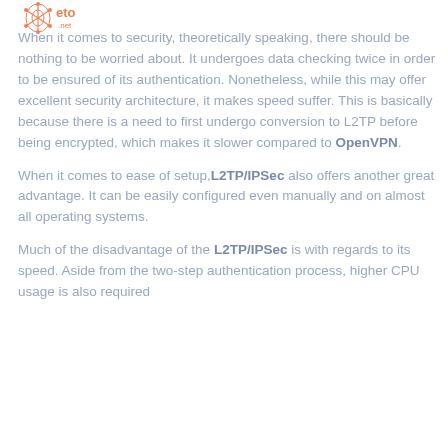[Figure (logo): eto.net logo with orange/coral spider-web/network icon and text 'eto .net']
When it comes to security, theoretically speaking, there should be nothing to be worried about. It undergoes data checking twice in order to be ensured of its authentication. Nonetheless, while this may offer excellent security architecture, it makes speed suffer. This is basically because there is a need to first undergo conversion to L2TP before being encrypted, which makes it slower compared to OpenVPN.
When it comes to ease of setup, L2TP/IPSec also offers another great advantage. It can be easily configured even manually and on almost all operating systems.
Much of the disadvantage of the L2TP/IPSec is with regards to its speed. Aside from the two-step authentication process, higher CPU usage is also required